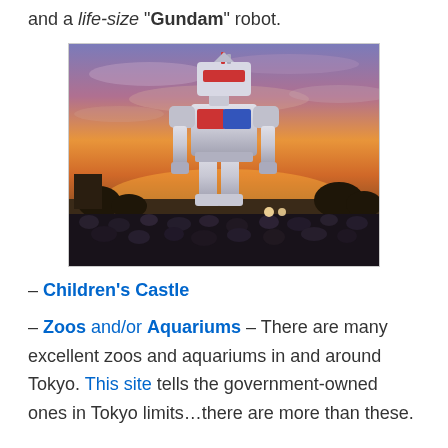and a life-size "Gundam" robot.
[Figure (photo): A life-size Gundam robot statue towering against a dramatic sunset sky, with a large crowd gathered at its feet. The robot is white and blue with red accents, lit from below.]
– Children's Castle
– Zoos and/or Aquariums – There are many excellent zoos and aquariums in and around Tokyo. This site tells the government-owned ones in Tokyo limits…there are more than these.